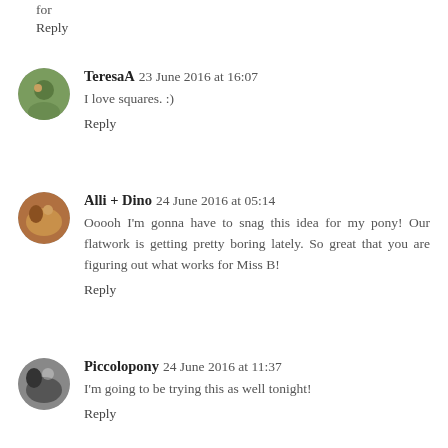for
Reply
TeresaA  23 June 2016 at 16:07
I love squares. :)
Reply
Alli + Dino  24 June 2016 at 05:14
Ooooh I'm gonna have to snag this idea for my pony! Our flatwork is getting pretty boring lately. So great that you are figuring out what works for Miss B!
Reply
Piccolopony  24 June 2016 at 11:37
I'm going to be trying this as well tonight!
Reply